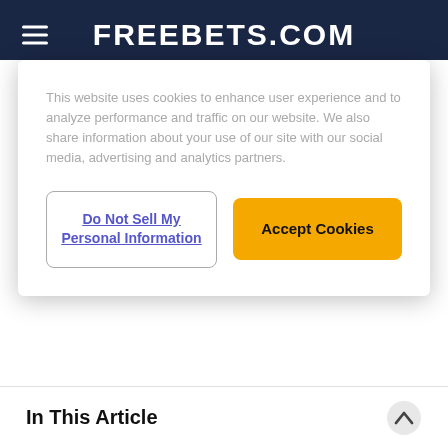FREEBETS.COM
This website uses cookies to enhance user experience and to analyze performance and traffic on our website. We also share information about your use of our site with our social media, advertising and analytics partners.
Do Not Sell My Personal Information
Accept Cookies
your chances of winning at La Liga, determining the key things to be aware of when betting on fixtures in the league include:
Team Form
Player Form
In This Article